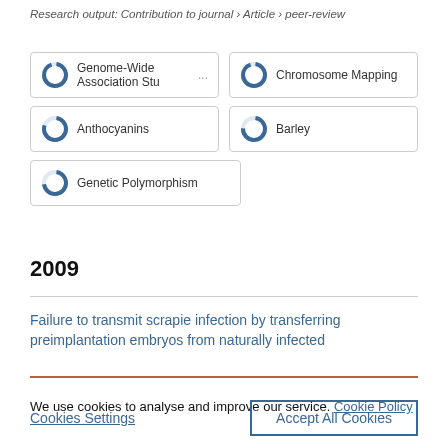Research output: Contribution to journal › Article › peer-review
Genome-Wide Association Stu...
Chromosome Mapping
Anthocyanins
Barley
Genetic Polymorphism
2009
Failure to transmit scrapie infection by transferring preimplantation embryos from naturally infected
We use cookies to analyse and improve our service. Cookie Policy
Cookies Settings
Accept All Cookies